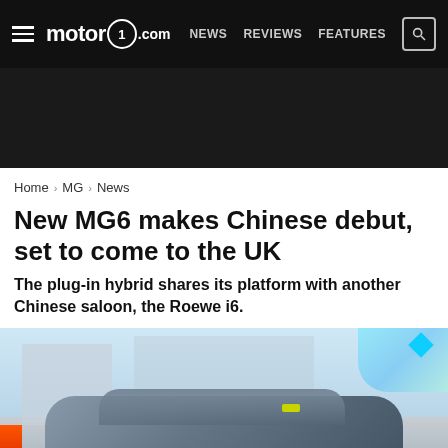motor1.com — NEWS  REVIEWS  FEATURES
[Figure (other): Dark advertisement banner]
Home > MG > News
New MG6 makes Chinese debut, set to come to the UK
The plug-in hybrid shares its platform with another Chinese saloon, the Roewe i6.
[Figure (photo): Front quarter view of the new MG6 plug-in hybrid saloon on a motor show stand, with colorful background lighting]